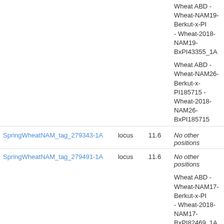| Name | Type | Position | Other positions |
| --- | --- | --- | --- |
|  |  |  | Wheat ABD - Wheat-NAM19-Berkut-x-PI- - Wheat-2018-NAM19-BxPI43355_1A |
|  |  |  | Wheat ABD - Wheat-NAM26-Berkut-x-PI185715 - Wheat-2018-NAM26-BxPI185715 |
| SpringWheatNAM_tag_279343-1A | locus | 11.6 | No other positions |
| SpringWheatNAM_tag_279491-1A | locus | 11.6 | No other positions |
|  |  |  | Wheat ABD - Wheat-NAM17-Berkut-x-PI- - Wheat-2018-NAM17-BxPI82469_1A |
|  |  |  | Wheat ABD - Wheat-NAM28-Berkut-x-PI210945 - Wheat-2018-NAM28-BxPI210945 |
|  |  |  | Wheat ABD - Wheat-NAM6-Berkut-x-PI47- - Wheat-2018-NAM6-BxPI470817_1A |
| SpringWheatNAM_tag_82995-1A | locus | 11.6 | Wheat ABD - Wheat-NAM5-Berkut-x-PI38 |